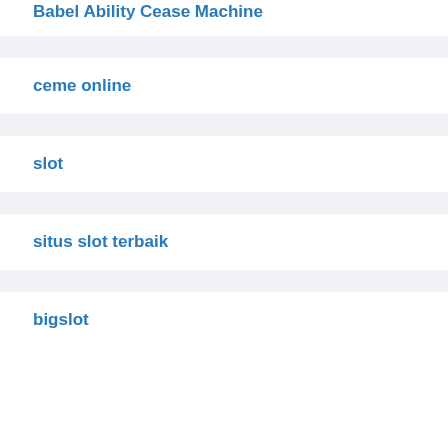Babel Ability Cease Machine
ceme online
slot
situs slot terbaik
bigslot